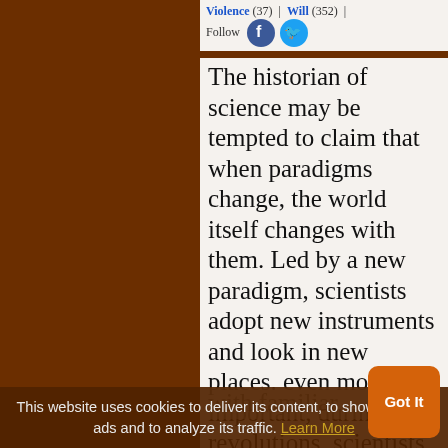Violence (37) | Will (352) Follow
The historian of science may be tempted to claim that when paradigms change, the world itself changes with them. Led by a new paradigm, scientists adopt new instruments and look in new places. even more important, during revolutions, scientists see new and different things when looking with familiar instruments in places they've looked before, there is if the professional community
This website uses cookies to deliver its content, to show relevant ads and to analyze its traffic. Learn More